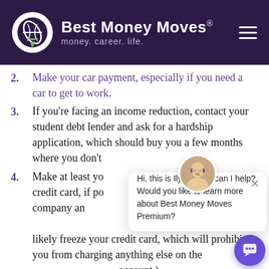Best Money Moves® — money. career. life.
2. Make your car payment, especially if you need a car to get to work.
3. If you're facing an income reduction, contact your student debt lender and ask for a hardship application, which should buy you a few months where you don't
4. Make at least your minimum payment on your credit card, if possible. You can call your credit card company and ask for a payment plan. (Just know it will likely freeze your credit card, which will prohibit you from charging anything else on the account.)
[Figure (screenshot): Chat widget popup with avatar of a woman with glasses and message: 'Hi, this is Ilyce. How can I help? Would you like to learn more about Best Money Moves Premium?']
5. While your medical debts are important, your